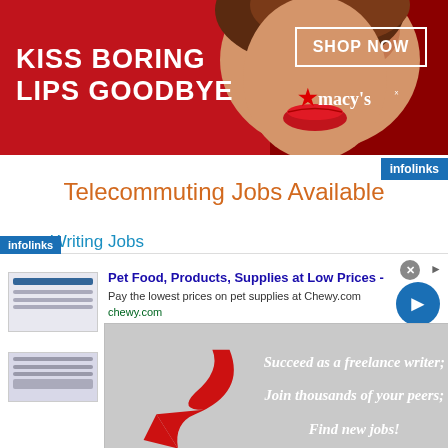[Figure (other): Macy's banner advertisement: red background with woman's face, 'KISS BORING LIPS GOODBYE' text on left, 'SHOP NOW' button and Macy's star logo on right]
[Figure (other): infolinks badge top right]
Telecommuting Jobs Available
Writing Jobs
Online Content Jobs
[Figure (other): Popup advertisement with close button (X), red curved arrow graphic on left, white italic text: 'Succeed as a freelance writer; Join thousands of your peers; Find new jobs!']
[Figure (other): infolinks badge bottom left]
[Figure (other): Bottom banner ad for Chewy.com: 'Pet Food, Products, Supplies at Low Prices - Pay the lowest prices on pet supplies at Chewy.com' with blue CTA arrow button]